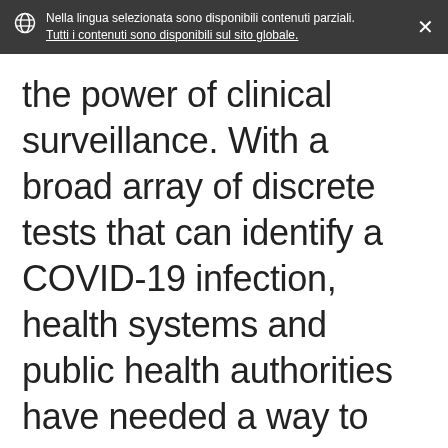Nella lingua selezionata sono disponibili contenuti parziali. Tutti i contenuti sono disponibili sul sito globale.
the power of clinical surveillance. With a broad array of discrete tests that can identify a COVID-19 infection, health systems and public health authorities have needed a way to interpret and track the patients with infections.
By associating signs and symptoms, clinical surveillance